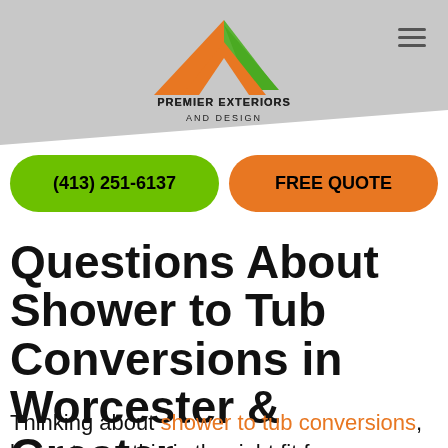[Figure (logo): Premier Exteriors and Design logo with orange and green house/roof icon and company name text below]
(413) 251-6137
FREE QUOTE
Questions About Shower to Tub Conversions in Worcester & Greater Massachusetts?
Thinking about shower to tub conversions, but not sure this is the right fit for your